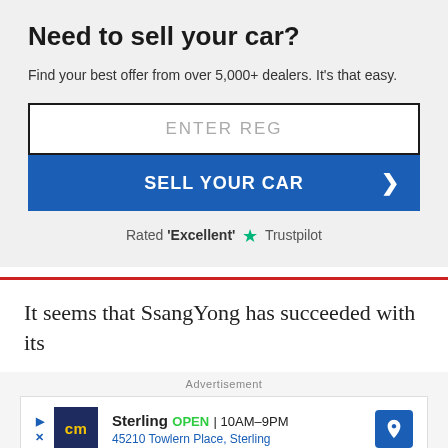Need to sell your car?
Find your best offer from over 5,000+ dealers. It's that easy.
[Figure (screenshot): Text input field with placeholder text ENTER REG]
[Figure (screenshot): Blue button labeled SELL YOUR CAR with right chevron arrow]
Rated 'Excellent' ★ Trustpilot
It seems that SsangYong has succeeded with its
Advertisement
[Figure (screenshot): Advertisement banner: CM logo, Sterling OPEN 10AM-9PM, 45210 Towlern Place, Sterling, with navigation arrow icon]